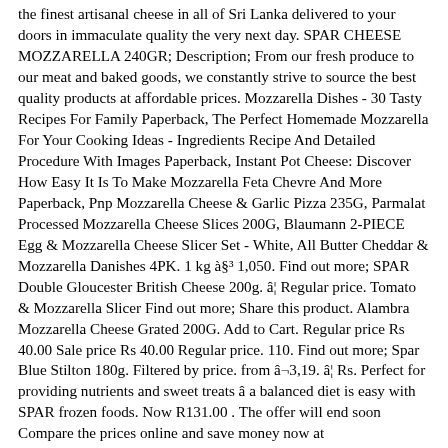the finest artisanal cheese in all of Sri Lanka delivered to your doors in immaculate quality the very next day. SPAR CHEESE MOZZARELLA 240GR; Description; From our fresh produce to our meat and baked goods, we constantly strive to source the best quality products at affordable prices. Mozzarella Dishes - 30 Tasty Recipes For Family Paperback, The Perfect Homemade Mozzarella For Your Cooking Ideas - Ingredients Recipe And Detailed Procedure With Images Paperback, Instant Pot Cheese: Discover How Easy It Is To Make Mozzarella Feta Chevre And More Paperback, Pnp Mozzarella Cheese & Garlic Pizza 235G, Parmalat Processed Mozzarella Cheese Slices 200G, Blaumann 2-PIECE Egg & Mozzarella Cheese Slicer Set - White, All Butter Cheddar & Mozzarella Danishes 4PK. 1 kg à§³ 1,050. Find out more; SPAR Double Gloucester British Cheese 200g. â¦ Regular price. Tomato & Mozzarella Slicer Find out more; Share this product. Alambra Mozzarella Cheese Grated 200G. Add to Cart. Regular price Rs 40.00 Sale price Rs 40.00 Regular price. 110. Find out more; Spar Blue Stilton 180g. Filtered by price. from â¬3,19. â¦ Rs. Perfect for providing nutrients and sweet treats â a balanced diet is easy with SPAR frozen foods. Now R131.00 . The offer will end soon Compare the prices online and save money now at Allcatalogues.co.za! Find your local SPAR online and pick up all the freezer food you need. All the prices and specials will be from this store. Great for Italian dishes, pizzas, salads or just plain eating. SPAR Sri Lanka ONLINE. Add. View Offer. Find out